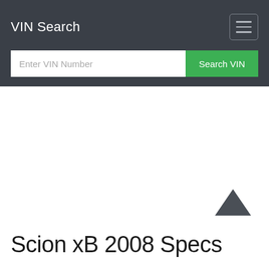VIN Search
Enter VIN Number
Search VIN
[Figure (screenshot): Scroll-to-top chevron/caret up arrow icon in dark gray]
Scion xB 2008 Specs